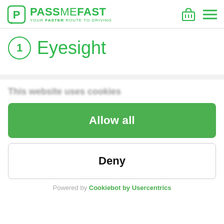PASS ME FAST — YOUR FASTER ROUTE TO DRIVING
1 Eyesight
This website uses cookies
Allow all
Deny
Powered by Cookiebot by Usercentrics